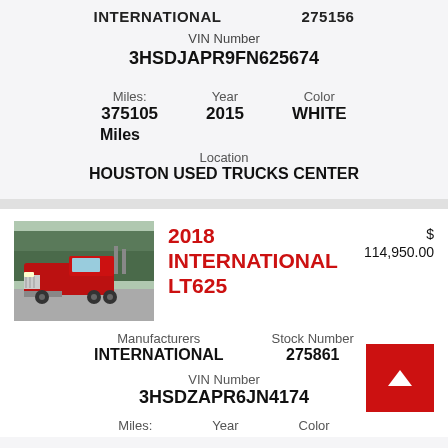INTERNATIONAL   275156
VIN Number
3HSDJAPR9FN625674
Miles: 375105 Miles   Year: 2015   Color: WHITE
Location
HOUSTON USED TRUCKS CENTER
2018 INTERNATIONAL LT625
$ 114,950.00
[Figure (photo): Red 2018 International LT625 semi truck parked in a lot with trees in background]
Manufacturers: INTERNATIONAL   Stock Number: 275861
VIN Number
3HSDZAPR6JN4174...
Miles:   Year   Color